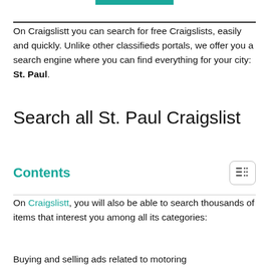[Figure (other): Teal/green horizontal bar at top center of page]
On Craigslistt you can search for free Craigslists, easily and quickly. Unlike other classifieds portals, we offer you a search engine where you can find everything for your city: St. Paul.
Search all St. Paul Craigslist
Contents
On Craigslistt, you will also be able to search thousands of items that interest you among all its categories:
Buying and selling ads related to motoring